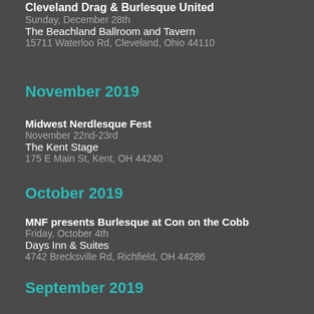Cleveland Drag & Burlesque United
Sunday, December 28th
The Beachland Ballroom and Tavern
15711 Waterloo Rd, Cleveland, Ohio 44110
November 2019
Midwest Nerdlesque Fest
November 22nd-23rd
The Kent Stage
175 E Main St, Kent, OH 44240
October 2019
MNF presents Burlesque at Con on the Cobb
Friday, October 4th
Days Inn & Suites
4742 Brecksville Rd, Richfield, OH 44286
September 2019
On the Wild Side
Saturday, September 7th
Tiki Underground